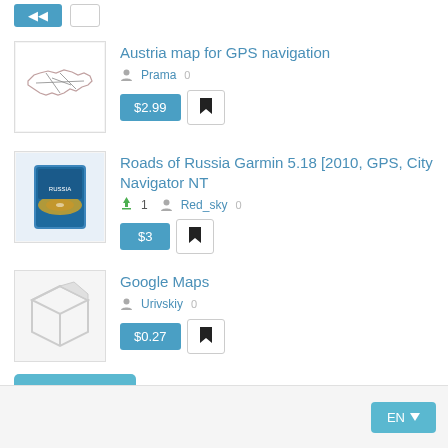[Figure (screenshot): Partial top buttons row (blue and white buttons partially cut off at top)]
Austria map for GPS navigation
Prama 0
$2.99
[Figure (map): Austria road map thumbnail showing routes]
Roads of Russia Garmin 5.18 [2010, GPS, City Navigator NT
1  Red_sky 0
$3
[Figure (photo): CD/DVD case with Roads of Russia Garmin product]
Google Maps
Urivskiy 0
$0.27
[Figure (illustration): Generic package/box placeholder icon]
Page: 2 of 3
EN